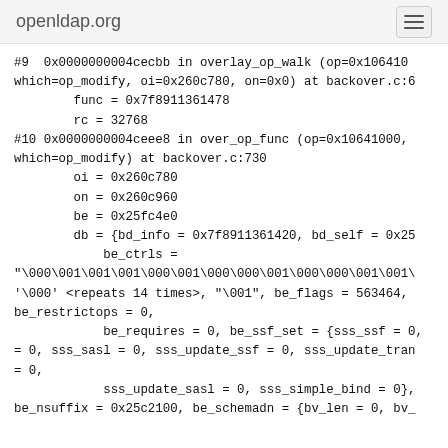openldap.org
#9  0x0000000004cecbb in overlay_op_walk (op=0x106410
which=op_modify, oi=0x260c780, on=0x0) at backover.c:6
        func = 0x7f8911361478
        rc = 32768
#10 0x0000000004ceee8 in over_op_func (op=0x10641000,
which=op_modify) at backover.c:730
        oi = 0x260c780
        on = 0x260c960
        be = 0x25fc4e0
        db = {bd_info = 0x7f8911361420, bd_self = 0x25
            be_ctrls =
"\000\001\001\001\000\001\000\000\001\000\000\001\001\
'\000' <repeats 14 times>, "\001", be_flags = 563464,
be_restrictops = 0,
            be_requires = 0, be_ssf_set = {sss_ssf = 0,
= 0, sss_sasl = 0, sss_update_ssf = 0, sss_update_tran
= 0,
            sss_update_sasl = 0, sss_simple_bind = 0},
be_nsuffix = 0x25c2100, be_schemadn = {bv_len = 0, bv_